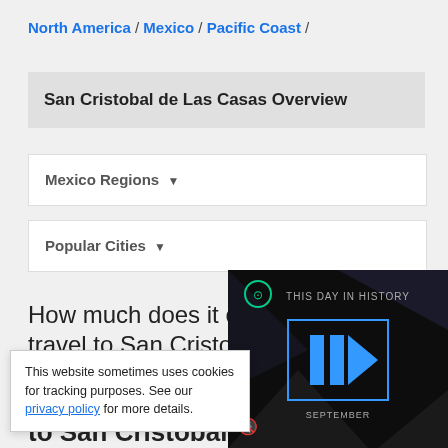North America / Mexico / Pacific Coast /
San Cristobal de Las Casas Overview
Mexico Regions ▼
Popular Cities ▼
How much does it cost to travel to San Cristobal d
This website sometimes uses cookies for tracking purposes. See our privacy policy for more details.
to San Cristobal
[Figure (screenshot): Video player overlay showing 'THIS DAY IN HISTORY' with a blue play button icon and 'SEPTEMBER' text on a dark background.]